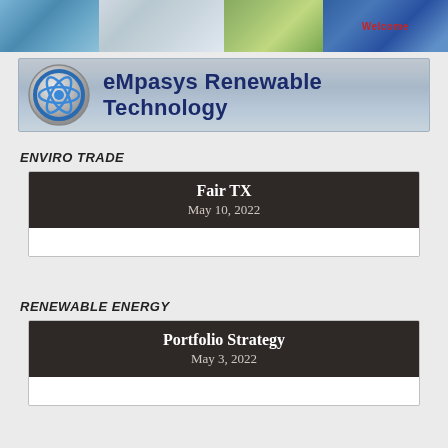[Figure (photo): Top banner with photos of electric vehicles, fuel stations, charging equipment, and a welcome sign]
[Figure (logo): eMpasys Renewable Technology logo banner with atom icon on grey gradient background]
ENVIRO TRADE
Fair TX
May 10, 2022
RENEWABLE ENERGY
Portfolio Strategy
May 3, 2022